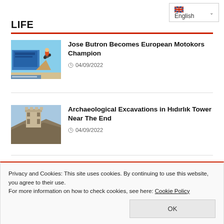English
LIFE
[Figure (photo): Motocross rider on a motorcycle performing a jump over a blue structure with a billboard in the background]
Jose Butron Becomes European Motokors Champion
04/09/2022
[Figure (photo): Ancient stone tower ruins on rocky coastal cliffs near the sea]
Archaeological Excavations in Hıdırlık Tower Near The End
04/09/2022
Privacy and Cookies: This site uses cookies. By continuing to use this website, you agree to their use.
For more information on how to check cookies, see here: Cookie Policy